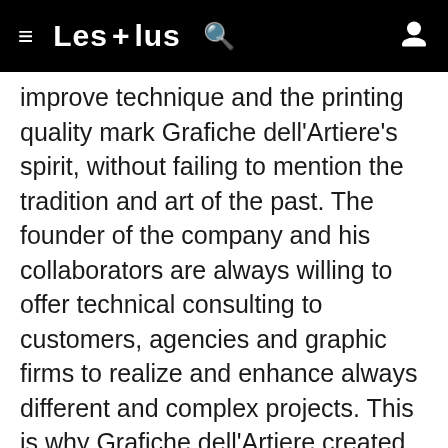≡  Les + lus  🔍  👤
improve technique and the printing quality mark Grafiche dell'Artiere's spirit, without failing to mention the tradition and art of the past. The founder of the company and his collaborators are always willing to offer technical consulting to customers, agencies and graphic firms to realize and enhance always different and complex projects. This is why Grafiche dell'Artiere created within the framework a Research and Development Department, where are tested special techniques to print on all kinds of paper (laminated, frosted, metallic) and on particular materials (plastic, silk,